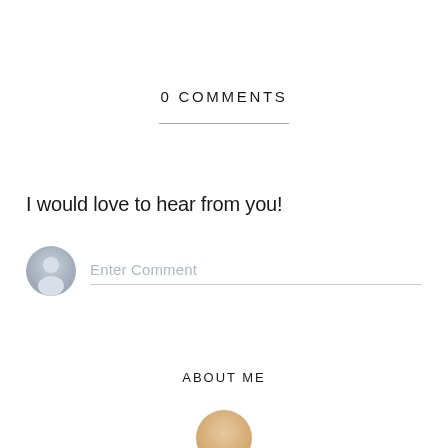0 COMMENTS
I would love to hear from you!
[Figure (other): User avatar placeholder icon — grey circle with silhouette figure]
Enter Comment
ABOUT ME
[Figure (other): Partially visible circular avatar/photo at bottom of page]